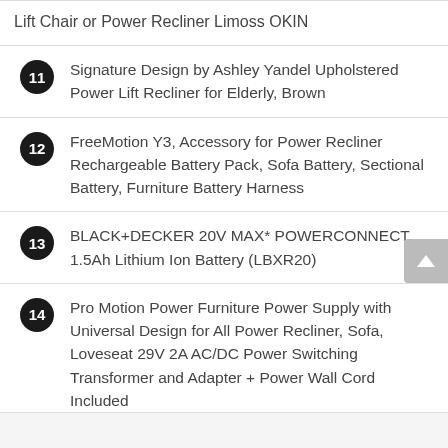Lift Chair or Power Recliner Limoss OKIN
11. Signature Design by Ashley Yandel Upholstered Power Lift Recliner for Elderly, Brown
12. FreeMotion Y3, Accessory for Power Recliner Rechargeable Battery Pack, Sofa Battery, Sectional Battery, Furniture Battery Harness
13. BLACK+DECKER 20V MAX* POWERCONNECT 1.5Ah Lithium Ion Battery (LBXR20)
14. Pro Motion Power Furniture Power Supply with Universal Design for All Power Recliner, Sofa, Loveseat 29V 2A AC/DC Power Switching Transformer and Adapter + Power Wall Cord Included